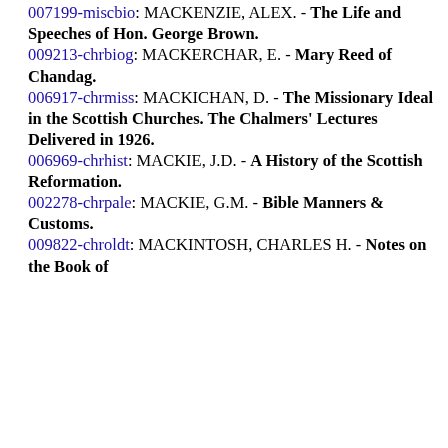MACKENZIE, MURDOCH. - Twenty-Five Years in Honan.
007199-miscbio: MACKENZIE, ALEX. - The Life and Speeches of Hon. George Brown.
009213-chrbiog: MACKERCHAR, E. - Mary Reed of Chandag.
006917-chrmiss: MACKICHAN, D. - The Missionary Ideal in the Scottish Churches. The Chalmers' Lectures Delivered in 1926.
006969-chrhist: MACKIE, J.D. - A History of the Scottish Reformation.
002278-chrpale: MACKIE, G.M. - Bible Manners & Customs.
009822-chroldt: MACKINTOSH, CHARLES H. - Notes on the Book of